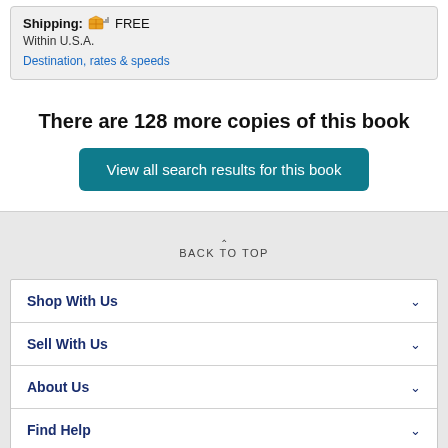Shipping: FREE
Within U.S.A.
Destination, rates & speeds
There are 128 more copies of this book
View all search results for this book
BACK TO TOP
Shop With Us
Sell With Us
About Us
Find Help